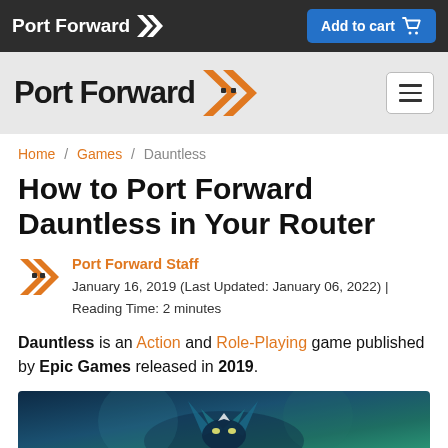Port Forward | Add to cart
[Figure (logo): Port Forward logo with orange double-chevron icon and hamburger menu button on gray background]
Home / Games / Dauntless
How to Port Forward Dauntless in Your Router
Port Forward Staff
January 16, 2019 (Last Updated: January 06, 2022) | Reading Time: 2 minutes
Dauntless is an Action and Role-Playing game published by Epic Games released in 2019.
[Figure (screenshot): Game screenshot of Dauntless showing a creature with horns against a blue/teal background]